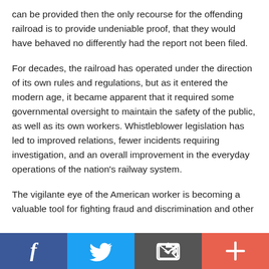can be provided then the only recourse for the offending railroad is to provide undeniable proof, that they would have behaved no differently had the report not been filed.
For decades, the railroad has operated under the direction of its own rules and regulations, but as it entered the modern age, it became apparent that it required some governmental oversight to maintain the safety of the public, as well as its own workers. Whistleblower legislation has led to improved relations, fewer incidents requiring investigation, and an overall improvement in the everyday operations of the nation's railway system.
The vigilante eye of the American worker is becoming a valuable tool for fighting fraud and discrimination and other
[Figure (other): Social sharing bar with four buttons: Facebook (blue), Twitter (light blue), Email/share (dark grey), and Plus/add (orange-red)]